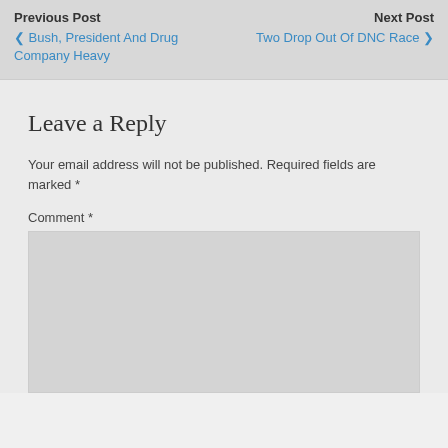Previous Post
< Bush, President And Drug Company Heavy
Next Post
Two Drop Out Of DNC Race >
Leave a Reply
Your email address will not be published. Required fields are marked *
Comment *